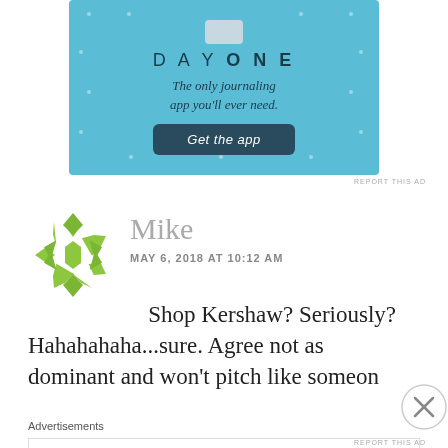[Figure (screenshot): Day One journaling app advertisement banner with blue background, app icon, title 'DAY ONE', subtitle 'The only journaling app you'll ever need.', and a 'Get the app' button]
REPORT THIS AD
[Figure (logo): Green geometric snowflake/star pattern avatar for user Mike]
Mike
MAY 6, 2018 AT 10:12 AM
Shop Kershaw? Seriously? Hahahahaha...sure. Agree not as dominant and won't pitch like someon
[Figure (screenshot): Close/dismiss button (X in circle) overlay]
Advertisements
[Figure (screenshot): Automattic advertisement: 'Build a better web and a better world.']
REPORT THIS AD